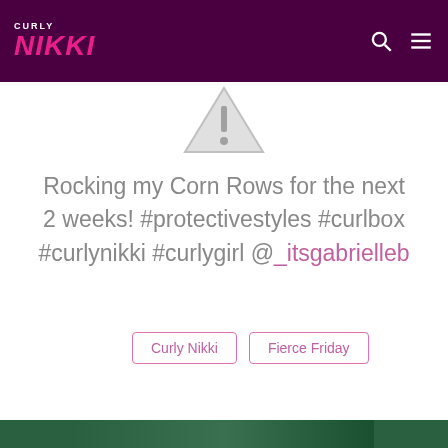CURLY NIKKI
[Figure (other): Broken/missing image placeholder — triangle warning icon with exclamation mark]
Rocking my Corn Rows for the next 2 weeks! #protectivestyles #curlbox #curlynikki #curlygirl @_itsgabrielleb
Curly Nikki
Fierce Friday
[Figure (photo): Partial photo visible at bottom of page — dark green tones]